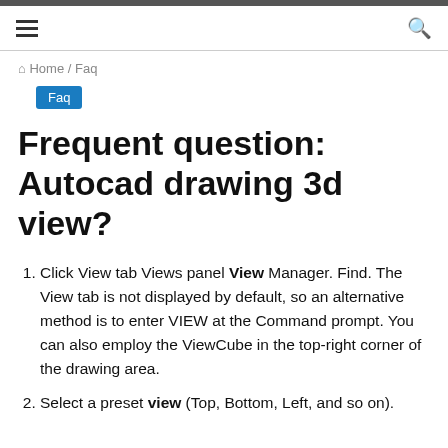Home / Faq
Faq
Frequent question: Autocad drawing 3d view?
Click View tab Views panel View Manager. Find. The View tab is not displayed by default, so an alternative method is to enter VIEW at the Command prompt. You can also employ the ViewCube in the top-right corner of the drawing area.
Select a preset view (Top, Bottom, Left, and so on).